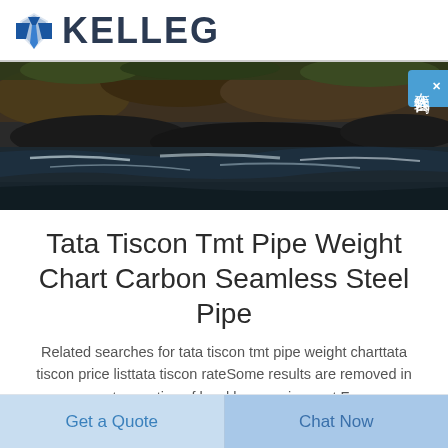[Figure (logo): KELLEG company logo with blue tie/shield icon and bold dark text]
[Figure (photo): Landscape photo of a rocky river or stream with dark water flowing over black rocks, with greenery visible at top]
Tata Tiscon Tmt Pipe Weight Chart Carbon Seamless Steel Pipe
Related searches for tata tiscon tmt pipe weight charttata tiscon price listtata tiscon rateSome results are removed in response to a notice of local law requirement For more information please see
Get a Quote
Chat Now